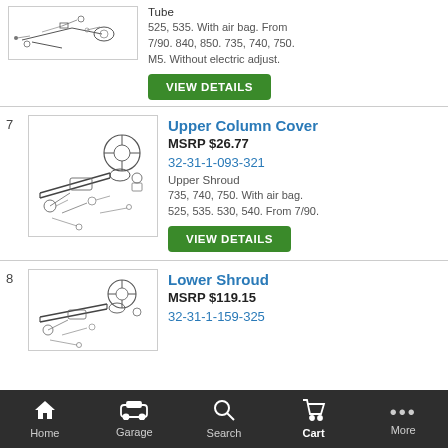[Figure (engineering-diagram): Exploded parts diagram of steering column assembly (partial, top of page)]
Tube
525, 535. With air bag. From 7/90. 840, 850. 735, 740, 750. M5. Without electric adjust.
VIEW DETAILS
7
[Figure (engineering-diagram): Exploded parts diagram of steering column assembly for item 7]
Upper Column Cover
MSRP $26.77
32-31-1-093-321
Upper Shroud
735, 740, 750. With air bag. 525, 535. 530, 540. From 7/90.
VIEW DETAILS
8
[Figure (engineering-diagram): Exploded parts diagram of steering column assembly for item 8]
Lower Shroud
MSRP $119.15
32-31-1-159-325
Home  Garage  Search  Cart  More